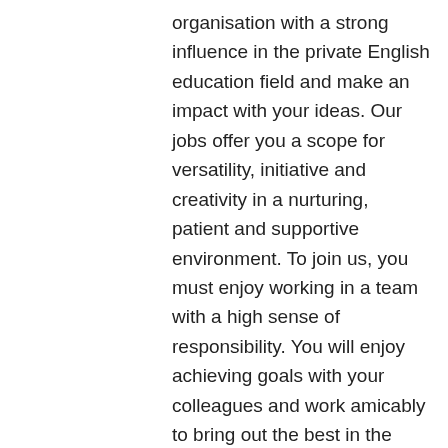organisation with a strong influence in the private English education field and make an impact with your ideas. Our jobs offer you a scope for versatility, initiative and creativity in a nurturing, patient and supportive environment. To join us, you must enjoy working in a team with a high sense of responsibility. You will enjoy achieving goals with your colleagues and work amicably to bring out the best in the team. We provide an attractive remuneration package and incentivise promising staff who put in effort in working towards company goals.